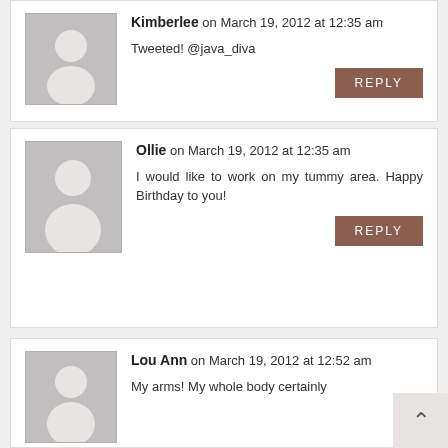Kimberlee on March 19, 2012 at 12:35 am
Tweeted! @java_diva
REPLY
Ollie on March 19, 2012 at 12:35 am
I would like to work on my tummy area. Happy Birthday to you!
REPLY
Lou Ann on March 19, 2012 at 12:52 am
My arms! My whole body certainly